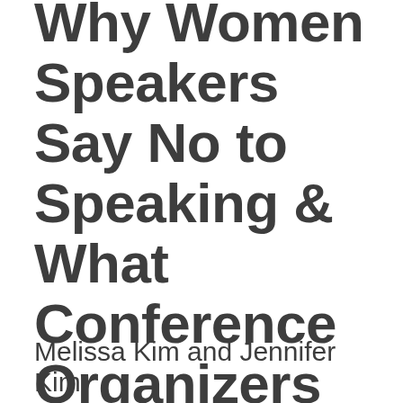Why Women Speakers Say No to Speaking & What Conference Organizers Can Do About It
Melissa Kim and Jennifer Kim